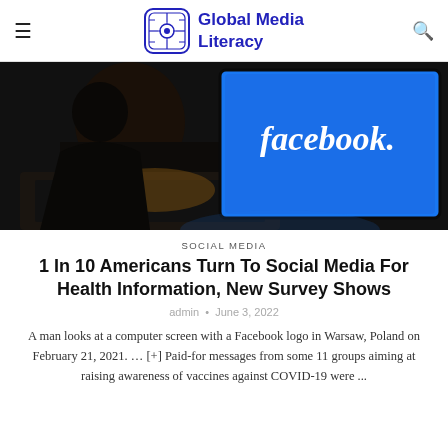Global Media Literacy
[Figure (photo): A person sitting in the dark looking at a laptop screen displaying the Facebook logo on a blue background]
SOCIAL MEDIA
1 In 10 Americans Turn To Social Media For Health Information, New Survey Shows
admin · June 3, 2022
A man looks at a computer screen with a Facebook logo in Warsaw, Poland on February 21, 2021. … [+] Paid-for messages from some 11 groups aiming at raising awareness of vaccines against COVID-19 were ...